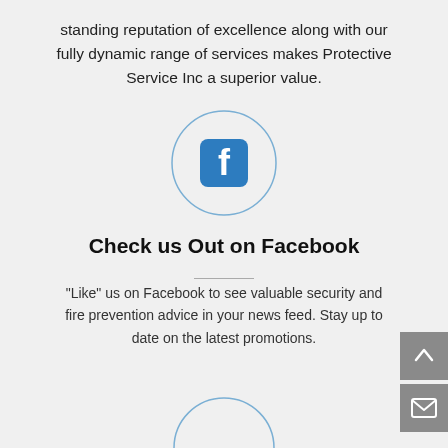standing reputation of excellence along with our fully dynamic range of services makes Protective Service Inc a superior value.
[Figure (logo): Facebook logo icon inside a circle outline]
Check us Out on Facebook
“Like” us on Facebook to see valuable security and fire prevention advice in your news feed. Stay up to date on the latest promotions.
[Figure (illustration): Scroll-up arrow button (grey square with white up arrow) and mail button (grey square with white envelope icon) on right side]
[Figure (illustration): Partial circle outline visible at bottom center of page]